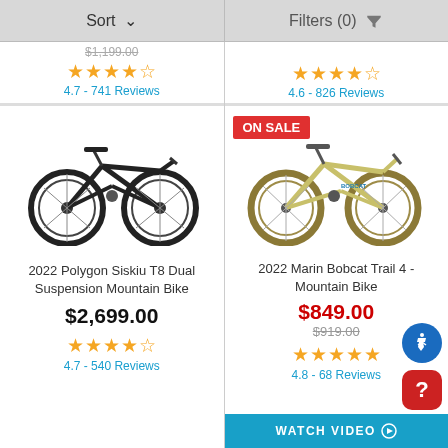Sort   Filters (0)
$1,199.00
4.7 - 741 Reviews
4.6 - 826 Reviews
[Figure (photo): 2022 Polygon Siskiu T8 Dual Suspension Mountain Bike - black full suspension mountain bike on white background]
2022 Polygon Siskiu T8 Dual Suspension Mountain Bike
$2,699.00
4.7 - 540 Reviews
[Figure (photo): 2022 Marin Bobcat Trail 4 Mountain Bike - tan/olive hardtail mountain bike on white background with ON SALE badge]
2022 Marin Bobcat Trail 4 - Mountain Bike
$849.00
$919.00
4.8 - 68 Reviews
WATCH VIDEO